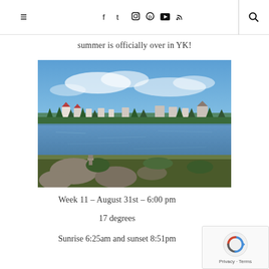☰  f  t  ⊕   pinterest  ▶  RSS  🔍
summer is officially over in YK!
[Figure (photo): Landscape photo of a lake with rocky foreground, conifer trees, and a small town with buildings visible across the water under a partly cloudy blue sky.]
Week 11 – August 31st – 6:00 pm
17 degrees
Sunrise 6:25am and sunset 8:51pm